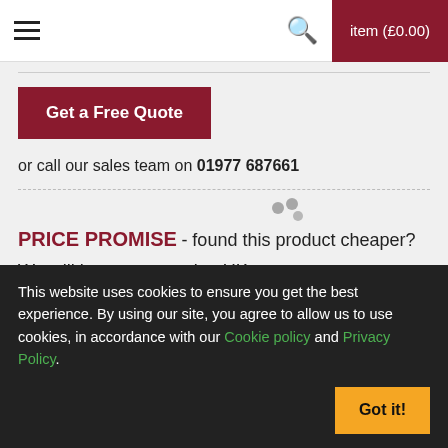item (£0.00)
Get a Free Quote
or call our sales team on 01977 687661
PRICE PROMISE - found this product cheaper?
We will beat any genuine UK quote.
This website uses cookies to ensure you get the best experience. By using our site, you agree to allow us to use cookies, in accordance with our Cookie policy and Privacy Policy.
Got it!